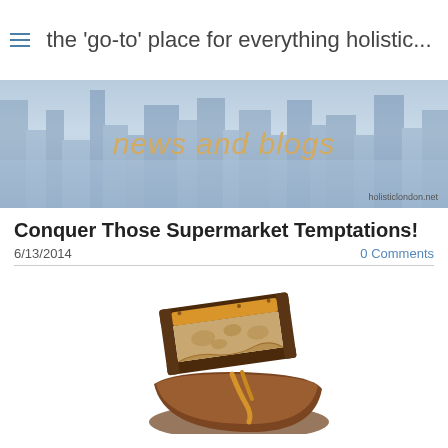the 'go-to' place for everything holistic...
[Figure (photo): Banner image with blurred cityscape/people silhouette background in blue tones with 'news and blogs' text in gold, and 'holisticlondon.net' URL watermark]
Conquer Those Supermarket Temptations!
6/13/2014   0 Comments
[Figure (photo): Close-up photograph of a chocolate candy bar (resembling a Snickers/caramel nougat bar) broken in half showing caramel and nougat filling, on white background]